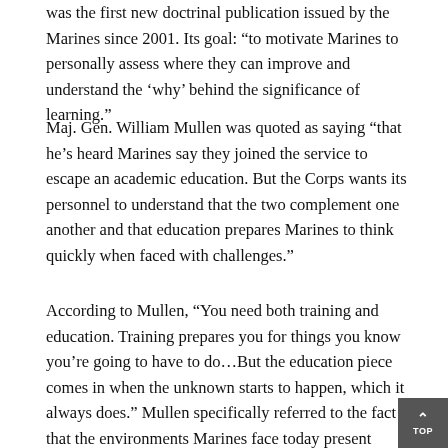was the first new doctrinal publication issued by the Marines since 2001. Its goal: “to motivate Marines to personally assess where they can improve and understand the ‘why’ behind the significance of learning.”
Maj. Gen. William Mullen was quoted as saying “that he’s heard Marines say they joined the service to escape an academic education. But the Corps wants its personnel to understand that the two complement one another and that education prepares Marines to think quickly when faced with challenges.”
According to Mullen, “You need both training and education. Training prepares you for things you know you’re going to have to do…But the education piece comes in when the unknown starts to happen, which it always does.” Mullen specifically referred to the fact that the environments Marines face today present challenges that are only growing more complex.